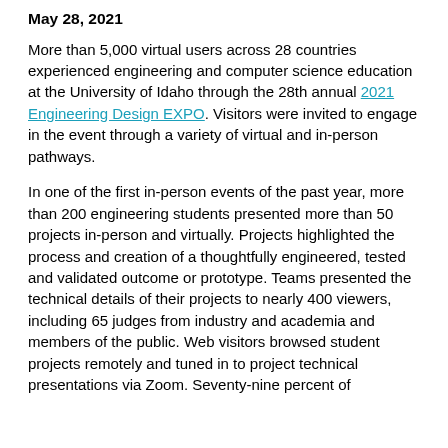May 28, 2021
More than 5,000 virtual users across 28 countries experienced engineering and computer science education at the University of Idaho through the 28th annual 2021 Engineering Design EXPO. Visitors were invited to engage in the event through a variety of virtual and in-person pathways.
In one of the first in-person events of the past year, more than 200 engineering students presented more than 50 projects in-person and virtually. Projects highlighted the process and creation of a thoughtfully engineered, tested and validated outcome or prototype. Teams presented the technical details of their projects to nearly 400 viewers, including 65 judges from industry and academia and members of the public. Web visitors browsed student projects remotely and tuned in to project technical presentations via Zoom. Seventy-nine percent of